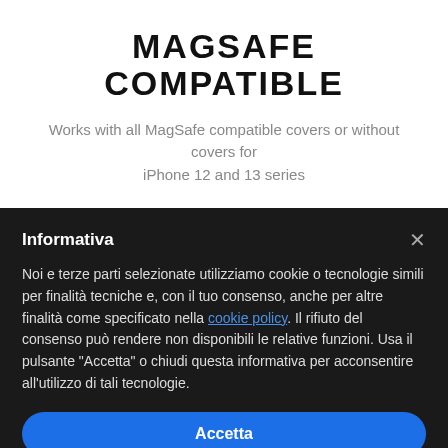MAGSAFE COMPATIBLE
Works with all MagSafe compatible covers or without covers for iPhone 12 and 13 series
Informativa
Noi e terze parti selezionate utilizziamo cookie o tecnologie simili per finalità tecniche e, con il tuo consenso, anche per altre finalità come specificato nella cookie policy. Il rifiuto del consenso può rendere non disponibili le relative funzioni. Usa il pulsante “Accetta” o chiudi questa informativa per acconsentire all'utilizzo di tali tecnologie.
Accetta
Scopri di più e personalizza